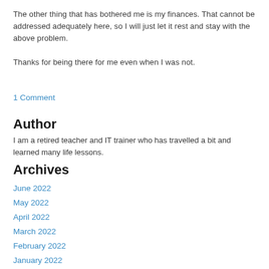The other thing that has bothered me is my finances. That cannot be addressed adequately here, so I will just let it rest and stay with the above problem.
Thanks for being there for me even when I was not.
1 Comment
Author
I am a retired teacher and IT trainer who has travelled a bit and learned many life lessons.
Archives
June 2022
May 2022
April 2022
March 2022
February 2022
January 2022